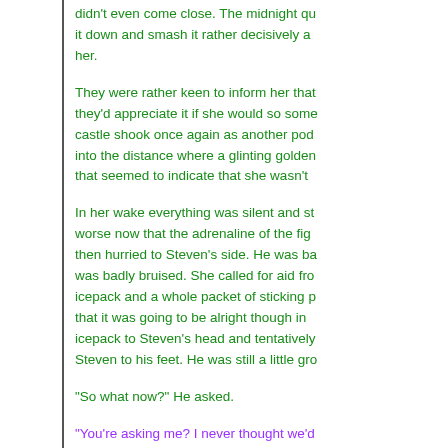didn't even come close. The midnight qu... it down and smash it rather decisively a... her.
They were rather keen to inform her that... they'd appreciate it if she would so some... castle shook once again as another pod... into the distance where a glinting golden... that seemed to indicate that she wasn't...
In her wake everything was silent and st... worse now that the adrenaline of the fig... then hurried to Steven's side. He was ba... was badly bruised. She called for aid fro... icepack and a whole packet of sticking p... that it was going to be alright though in... icepack to Steven's head and tentatively... Steven to his feet. He was still a little gro...
"So what now?" He asked.
"You're asking me? I never thought we'd... can find another way off of this place?"